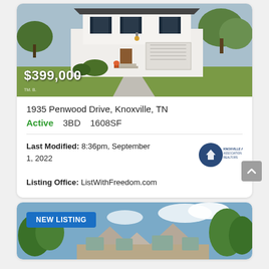[Figure (photo): White two-story house with two-car garage, front yard with landscaping, showing price overlay of $399,000]
1935 Penwood Drive, Knoxville, TN
Active   3BD   1608SF
Last Modified: 8:36pm, September 1, 2022
Listing Office: ListWithFreedom.com
[Figure (photo): Large stone and brick house with NEW LISTING badge, blue sky with clouds, green trees in background]